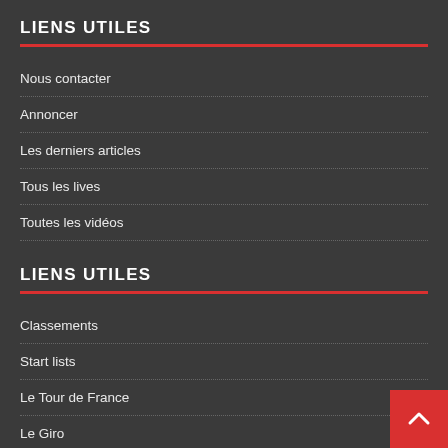LIENS UTILES
Nous contacter
Annoncer
Les derniers articles
Tous les lives
Toutes les vidéos
LIENS UTILES
Classements
Start lists
Le Tour de France
Le Giro
La Vuelta